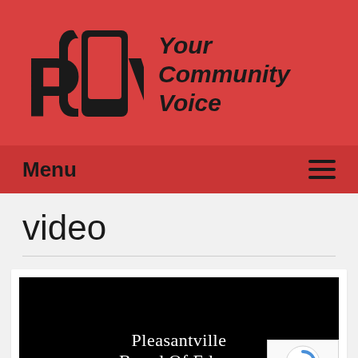[Figure (logo): PCTV logo with text 'Your Community Voice' on red background]
Menu
video
[Figure (screenshot): Video thumbnail showing 'Pleasantville Board Of Education Meeting' text on black background with reCAPTCHA badge overlay]